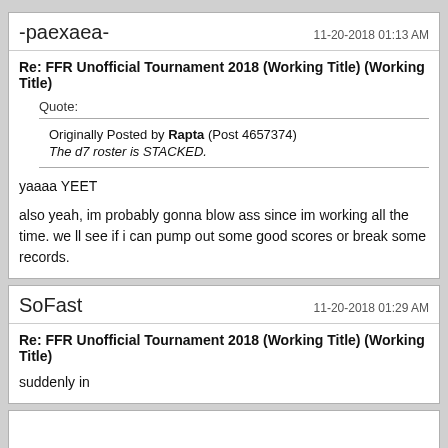-paexaea-   11-20-2018 01:13 AM
Re: FFR Unofficial Tournament 2018 (Working Title) (Working Title)
Quote:
Originally Posted by Rapta (Post 4657374)
The d7 roster is STACKED.
yaaaa YEET
also yeah, im probably gonna blow ass since im working all the time. we ll see if i can pump out some good scores or break some records.
SoFast   11-20-2018 01:29 AM
Re: FFR Unofficial Tournament 2018 (Working Title) (Working Title)
suddenly in